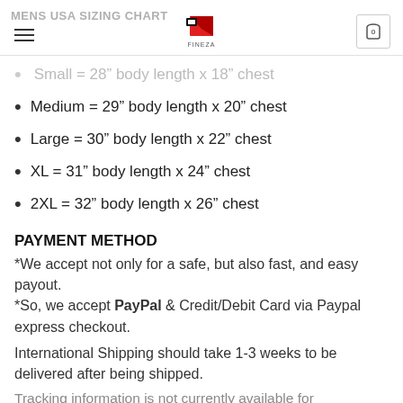MENS USA SIZING CHART
Small = 28" body length x 18" chest
Medium = 29" body length x 20" chest
Large = 30" body length x 22" chest
XL = 31" body length x 24" chest
2XL = 32" body length x 26" chest
PAYMENT METHOD
*We accept not only for a safe, but also fast, and easy payout. *So, we accept PayPal & Credit/Debit Card via Paypal express checkout.
International Shipping should take 1-3 weeks to be delivered after being shipped.
Tracking information is not currently available for International Shipping.